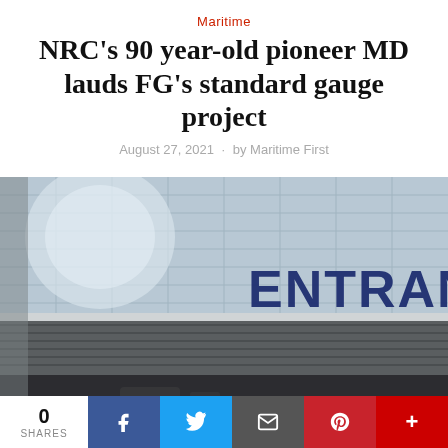Maritime
NRC’s 90 year-old pioneer MD lauds FG’s standard gauge project
August 27, 2021 · by Maritime First
[Figure (photo): Exterior photo of a modern building entrance with glass facade and blue 'ENTRANCE' sign text visible]
0 SHARES